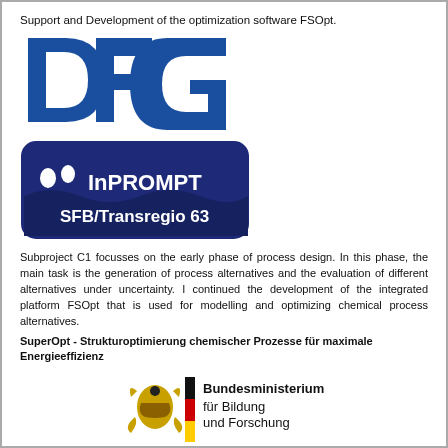Support and Development of the optimization software FSOpt.
[Figure (logo): DFG (Deutsche Forschungsgemeinschaft) logo in blue]
[Figure (logo): InPROMPT SFB/Transregio 63 logo with droplets and wave in navy blue rounded rectangle]
Subproject C1 focusses on the early phase of process design. In this phase, the main task is the generation of process alternatives and the evaluation of different alternatives under uncertainty. I continued the development of the integrated platform FSOpt that is used for modelling and optimizing chemical process alternatives.
SuperOpt  - Strukturoptimierung chemischer Prozesse für maximale Energieeffizienz
[Figure (logo): Bundesministerium für Bildung und Forschung (BMBF) logo with German eagle and black-red-gold stripe]